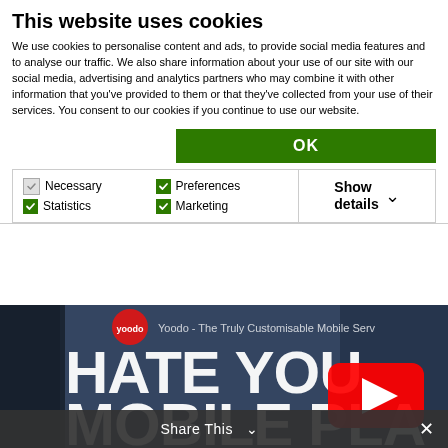This website uses cookies
We use cookies to personalise content and ads, to provide social media features and to analyse our traffic. We also share information about your use of our site with our social media, advertising and analytics partners who may combine it with other information that you've provided to them or that they've collected from your use of their services. You consent to our cookies if you continue to use our website.
OK
Necessary  Preferences  Statistics  Marketing  Show details
[Figure (screenshot): YouTube video thumbnail showing 'Yoodo - The Truly Customisable Mobile Service' with large white bold text reading 'HATE YOU' and 'MOBILE PLA' (partially visible), a YouTube play button in the center, and a Yoodo logo in the upper left corner.]
Share This  ✕